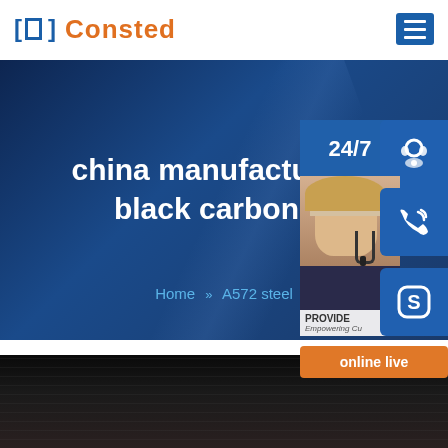Consted
china manufacturer d... black carbon st...
Home » A572 steel
[Figure (infographic): 24/7 customer service widget with headset icon, phone icon, Skype icon, and online live button, alongside a photo of a blonde female customer service agent with headset]
[Figure (photo): Dark background image showing industrial or computer equipment, mostly black with subtle textures]